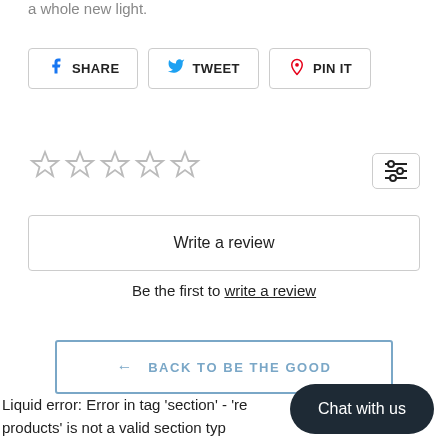a whole new light.
SHARE  TWEET  PIN IT
[Figure (other): Five empty star rating icons]
Write a review
Be the first to write a review
← BACK TO BE THE GOOD
Liquid error: Error in tag 'section' - 'recommended-products' is not a valid section type
Chat with us